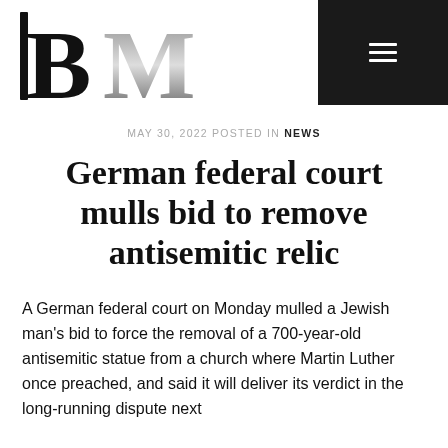[Figure (logo): BM logo with large bold B and stylized M letters on white background with dark navigation bar and hamburger menu icon]
MAY 30, 2022 POSTED IN NEWS
German federal court mulls bid to remove antisemitic relic
A German federal court on Monday mulled a Jewish man's bid to force the removal of a 700-year-old antisemitic statue from a church where Martin Luther once preached, and said it will deliver its verdict in the long-running dispute next